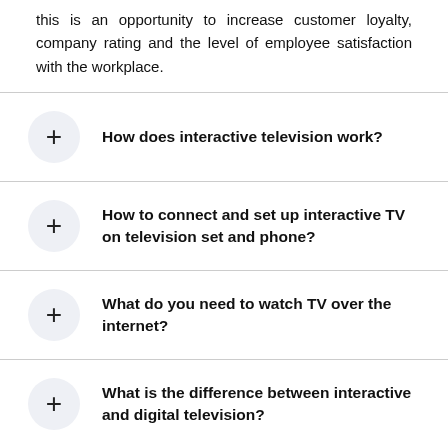this is an opportunity to increase customer loyalty, company rating and the level of employee satisfaction with the workplace.
How does interactive television work?
How to connect and set up interactive TV on television set and phone?
What do you need to watch TV over the internet?
What is the difference between interactive and digital television?